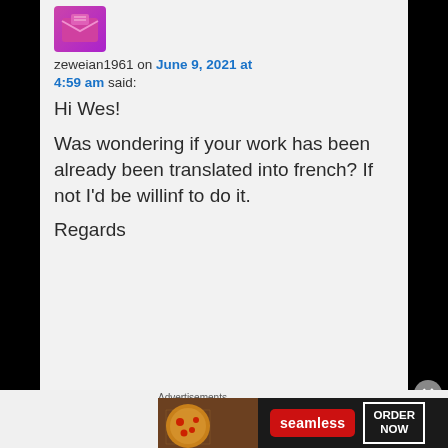[Figure (illustration): User avatar icon — pink/purple envelope-style logo on rounded rectangle background]
zeweian1961 on June 9, 2021 at 4:59 am said:
Hi Wes!

Was wondering if your work has been already been translated into french? If not I'd be willinf to do it.

Regards
Advertisements
[Figure (screenshot): Seamless food delivery advertisement banner showing pizza image, red Seamless logo button, and ORDER NOW button on dark background]